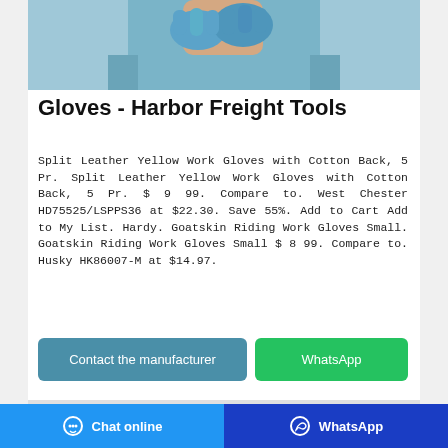[Figure (photo): Person wearing blue medical/work gloves and blue scrubs, putting on or adjusting gloves]
Gloves - Harbor Freight Tools
Split Leather Yellow Work Gloves with Cotton Back, 5 Pr. Split Leather Yellow Work Gloves with Cotton Back, 5 Pr. $ 9 99. Compare to. West Chester HD75525/LSPPS36 at $22.30. Save 55%. Add to Cart Add to My List. Hardy. Goatskin Riding Work Gloves Small. Goatskin Riding Work Gloves Small $ 8 99. Compare to. Husky HK86007-M at $14.97.
Contact the manufacturer
WhatsApp
Chat online   WhatsApp